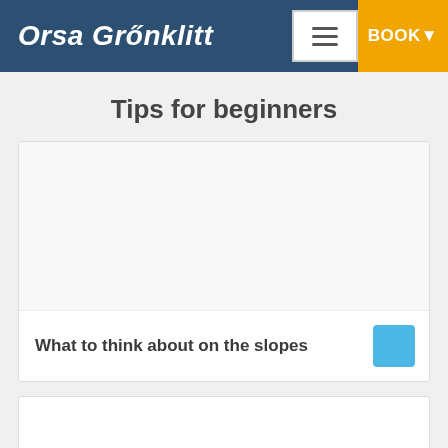Orsa Grönklitt
Tips for beginners
[Figure (screenshot): White card with empty image area and footer text 'What to think about on the slopes' with a blue square button]
What to think about on the slopes
[Figure (screenshot): Partial white card at bottom of page]